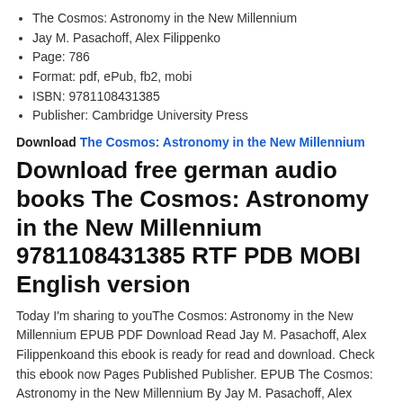The Cosmos: Astronomy in the New Millennium
Jay M. Pasachoff, Alex Filippenko
Page: 786
Format: pdf, ePub, fb2, mobi
ISBN: 9781108431385
Publisher: Cambridge University Press
Download The Cosmos: Astronomy in the New Millennium
Download free german audio books The Cosmos: Astronomy in the New Millennium 9781108431385 RTF PDB MOBI English version
Today I'm sharing to youThe Cosmos: Astronomy in the New Millennium EPUB PDF Download Read Jay M. Pasachoff, Alex Filippenkoand this ebook is ready for read and download. Check this ebook now Pages Published Publisher. EPUB The Cosmos: Astronomy in the New Millennium By Jay M. Pasachoff, Alex Filippenko PDF Download review, torrent download locations.